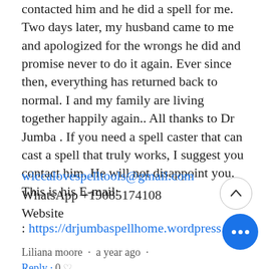contacted him and he did a spell for me. Two days later, my husband came to me and apologized for the wrongs he did and promise never to do it again. Ever since then, everything has returned back to normal. I and my family are living together happily again.. All thanks to Dr Jumba . If you need a spell caster that can cast a spell that truly works, I suggest you contact him. He will not disappoint you. This is his E-mail:
wiccalovespelltools@gmail.com
WhatsApp +19085174108
Website : https://drjumbaspellhome.wordpress.com
Liliana moore · a year ago ·
Reply · 0 ♡